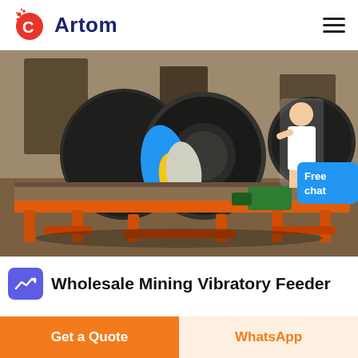Artom
[Figure (photo): Industrial magnetic separator / vibratory feeder machines with large cylindrical drums on orange metal frames, photographed in a factory or warehouse setting. A 'Free chat' button with an agent illustration is overlaid in the bottom-right corner.]
Wholesale Mining Vibratory Feeder
Get a Quote
WhatsApp